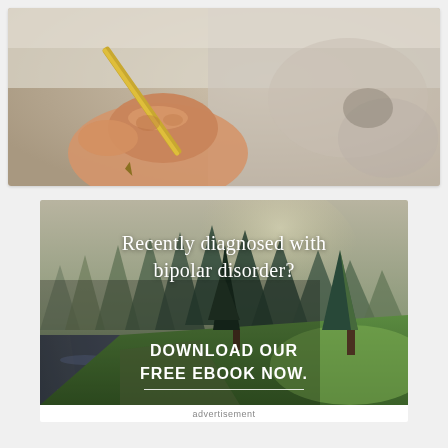[Figure (photo): Close-up photo of a hand holding a pencil/pen, writing, with blurred background]
[Figure (photo): Forest scene with tall pine trees, a river/stream, green grass, and misty mountains in the background. Text overlay reads 'Recently diagnosed with bipolar disorder? DOWNLOAD OUR FREE EBOOK NOW.' with a white underline beneath the CTA text.]
advertisement